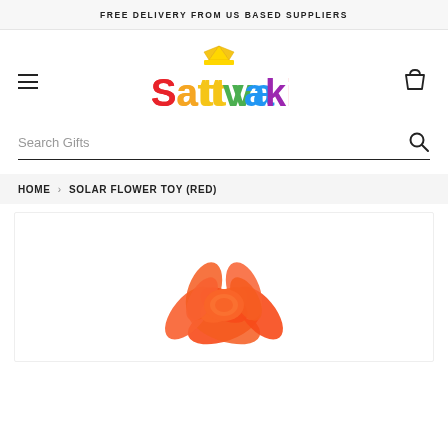FREE DELIVERY FROM US BASED SUPPLIERS
[Figure (logo): Sattvakidz colorful logo with rainbow-colored text and a yellow crown above the 'a']
Search Gifts
HOME > SOLAR FLOWER TOY (RED)
[Figure (photo): Red/orange solar flower toy product image, partially visible at bottom of page]